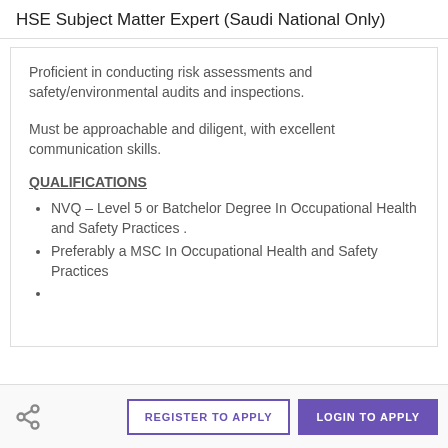HSE Subject Matter Expert (Saudi National Only)
Proficient in conducting risk assessments and safety/environmental audits and inspections.
Must be approachable and diligent, with excellent communication skills.
QUALIFICATIONS
NVQ – Level 5 or Batchelor Degree In Occupational Health and Safety Practices .
Preferably a MSC In Occupational Health and Safety Practices